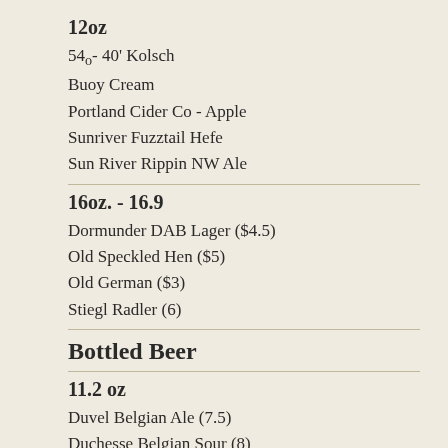12oz
54o- 40' Kolsch
Buoy Cream
Portland Cider Co - Apple
Sunriver Fuzztail Hefe
Sun River Rippin NW Ale
16oz. - 16.9
Dormunder DAB Lager ($4.5)
Old Speckled Hen ($5)
Old German ($3)
Stiegl Radler (6)
Bottled Beer
11.2 oz
Duvel Belgian Ale (7.5)
Duchesse Belgian Sour (8)
12 0z. bottles
Clausthaler Dry Hopped N.A. (4.5)